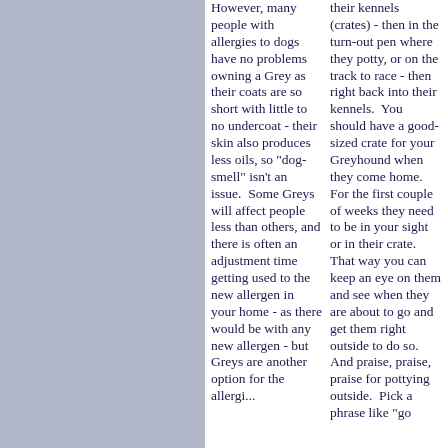However, many people with allergies to dogs have no problems owning a Grey as their coats are so short with little to no undercoat - their skin also produces less oils, so "dog-smell" isn't an issue.  Some Greys will affect people less than others, and there is often an adjustment time getting used to the new allergen in your home - as there would be with any new allergen - but Greys are another option for the allergi...
their kennels (crates) - then in the turn-out pen where they potty, or on the track to race - then right back into their kennels.  You should have a good-sized crate for your Greyhound when they come home.  For the first couple of weeks they need to be in your sight or in their crate.  That way you can keep an eye on them and see when they are about to go and get them right outside to do so.  And praise, praise, praise for pottying outside.  Pick a phrase like "go...